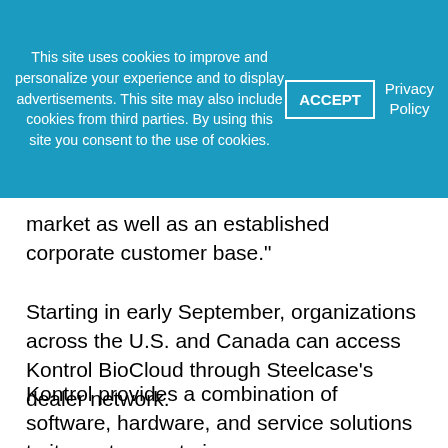This site uses cookies to improve and personalize your experience and to display advertisements. This site may also include cookies from third parties. By using this site you consent to the use of cookies.
ACCEPT
Privacy Policy
market as well as an established corporate customer base."
Starting in early September, organizations across the U.S. and Canada can access Kontrol BioCloud through Steelcase's dealer network.
Kontrol provides a combination of software, hardware, and service solutions to its customers to improve energy management, air quality and continuous emission monitoring.